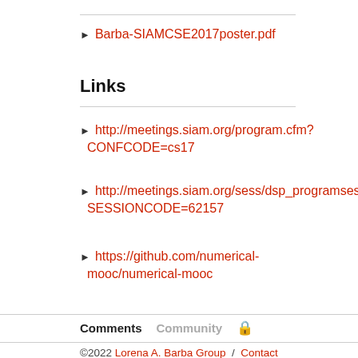Barba-SIAMCSE2017poster.pdf
Links
http://meetings.siam.org/program.cfm?CONFCODE=cs17
http://meetings.siam.org/sess/dsp_programsess.cfm?SESSIONCODE=62157
https://github.com/numerical-mooc/numerical-mooc
Comments  Community  🔒
©2022 Lorena A. Barba Group  /  Contact  /  @LorenaABarba